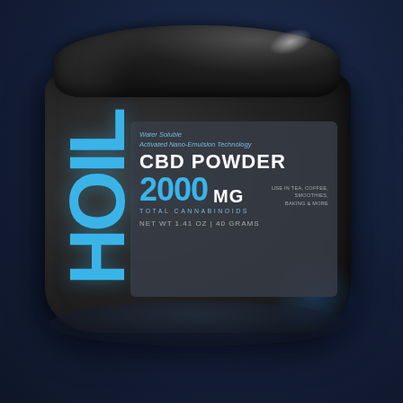[Figure (photo): A dark cylindrical jar with black glossy lid containing CBD Powder product. The jar has a dark gray label with blue brand lettering 'HOIL' on the left side. Label text includes: Water Soluble Activated Nano-Emulsion Technology, CBD POWDER, 2000 MG TOTAL CANNABINOIDS, NET WT 1.41 OZ / 40 GRAMS, USE IN TEA, COFFEE, SMOOTHIES, BAKING & MORE. Background is a dark navy blue.]